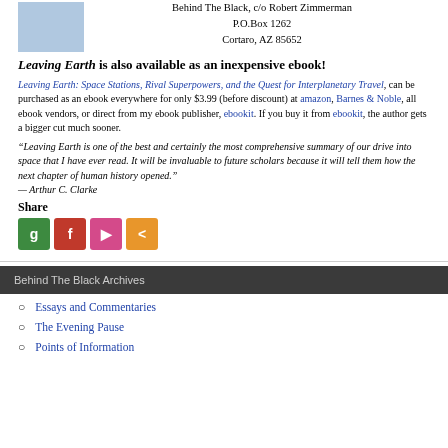Behind The Black, c/o Robert Zimmerman
P.O.Box 1262
Cortaro, AZ 85652
Leaving Earth is also available as an inexpensive ebook!
Leaving Earth: Space Stations, Rival Superpowers, and the Quest for Interplanetary Travel, can be purchased as an ebook everywhere for only $3.99 (before discount) at amazon, Barnes & Noble, all ebook vendors, or direct from my ebook publisher, ebookit. If you buy it from ebookit, the author gets a bigger cut much sooner.
“Leaving Earth is one of the best and certainly the most comprehensive summary of our drive into space that I have ever read. It will be invaluable to future scholars because it will tell them how the next chapter of human history opened.”
— Arthur C. Clarke
Share
[Figure (infographic): Four social share buttons: green G button, red F button, red/pink P button, orange share button]
Behind The Black Archives
Essays and Commentaries
The Evening Pause
Points of Information